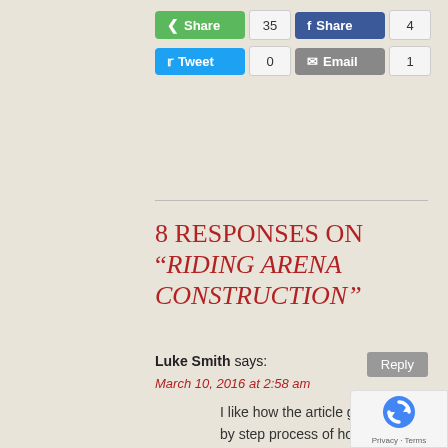[Figure (other): Social share buttons: green Share (35), Facebook Share (4), Tweet (0), Email (1)]
8 RESPONSES ON “RIDING ARENA CONSTRUCTION”
Luke Smith says:
March 10, 2016 at 2:58 am
I like how the article gives a step by step process of how a riding arena is made. And that draining the area is the most important thing to do so the surface is perfect. I think I will have a great appreciation next time I'm in an arena.